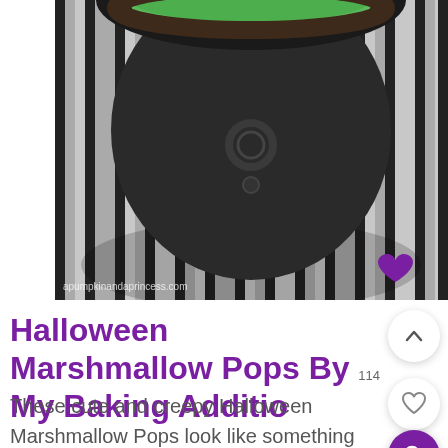[Figure (photo): Close-up photo of a black Halloween cauldron with green contents on a black and white striped surface with lace doily. Watermark reads apumpkinandaprincess.com]
Halloween Marshmallow Pops By My Baking Addiction
These cute and creepy Halloween Marshmallow Pops look like something that you can easily give a try. Its just